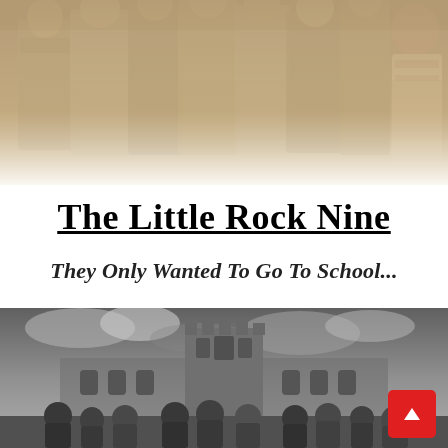[Figure (photo): Sepia-toned historical photograph of the Little Rock Nine students standing together, showing their upper bodies and clothing from the 1950s era.]
The Little Rock Nine
They Only Wanted To Go To School...
[Figure (photo): Black and white photograph of the Little Rock Nine (now adults) standing in front of Little Rock Central High School building with cloudy sky. A red scroll-to-top button appears in the lower right corner.]